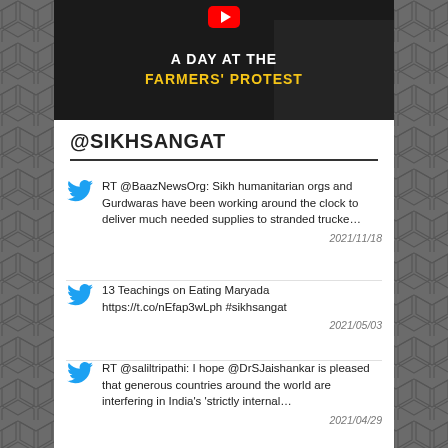[Figure (screenshot): YouTube video thumbnail with title 'A DAY AT THE FARMERS' PROTEST' on dark background with YouTube play button icon]
@SIKHSANGAT
RT @BaazNewsOrg: Sikh humanitarian orgs and Gurdwaras have been working around the clock to deliver much needed supplies to stranded trucke… 2021/11/18
13 Teachings on Eating Maryada https://t.co/nEfap3wLph #sikhsangat 2021/05/03
RT @saliltripathi: I hope @DrSJaishankar is pleased that generous countries around the world are interfering in India's 'strictly internal… 2021/04/29